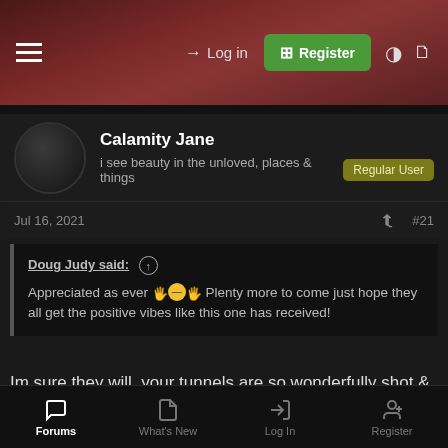Log in  Register
Calamity Jane
i see beauty in the unloved, places & things  Regular User
Jul 16, 2021  #21
Doug Judy said: ↑
Appreciated as ever 🙂 Plenty more to come just hope they all get the positive vibes like this one has received!
Im sure they will, your tunnels are so wonderfully shot & lite and the history always right. I look forward to them. You are after all the Tunnel King on here. 😊👑
Forums  What's New  Log In  Register